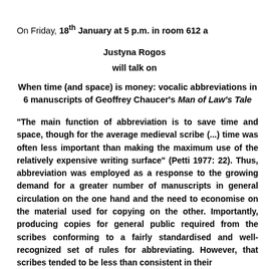On Friday, 18th January at 5 p.m. in room 612 a
Justyna Rogos
will talk on
When time (and space) is money: vocalic abbreviations in 6 manuscripts of Geoffrey Chaucer's Man of Law's Tale
"The main function of abbreviation is to save time and space, though for the average medieval scribe (...) time was often less important than making the maximum use of the relatively expensive writing surface" (Petti 1977: 22). Thus, abbreviation was employed as a response to the growing demand for a greater number of manuscripts in general circulation on the one hand and the need to economise on the material used for copying on the other. Importantly, producing copies for general public required from the scribes conforming to a fairly standardised and well-recognized set of rules for abbreviating. However, that scribes tended to be less than consistent in their